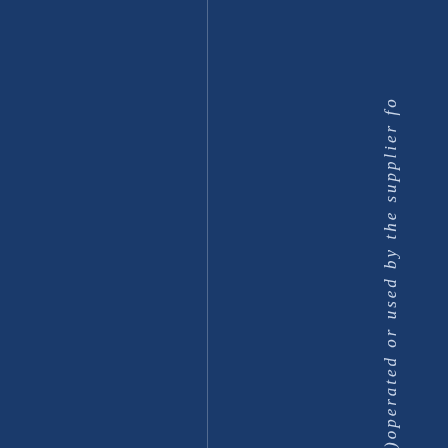)operated or used by the supplier fo